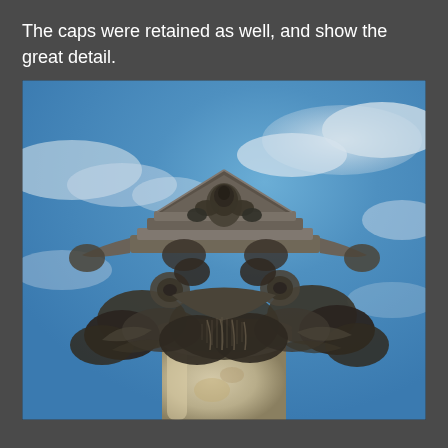The caps were retained as well, and show the great detail.
[Figure (photo): Close-up photograph from below of an ornate Corinthian column capital with elaborate acanthus leaf carvings and volutes, topped with an abacus. The column is pale stone/marble colored, and the capital shows dark weathering. Blue sky with white clouds is visible in the background.]